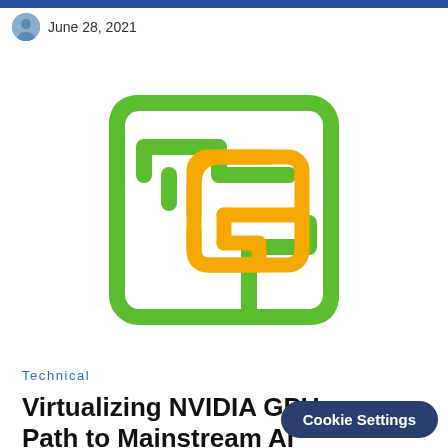June 28, 2021
[Figure (logo): NVIDIA vGPU / virtualization logo: interlocking green and orange/yellow stepped square spiral shapes on white background]
Technical
Virtualizing NVIDIA GPU Path to Mainstream AI